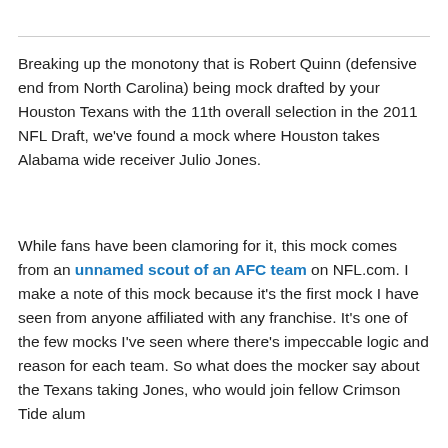Breaking up the monotony that is Robert Quinn (defensive end from North Carolina) being mock drafted by your Houston Texans with the 11th overall selection in the 2011 NFL Draft, we've found a mock where Houston takes Alabama wide receiver Julio Jones.
While fans have been clamoring for it, this mock comes from an unnamed scout of an AFC team on NFL.com. I make a note of this mock because it's the first mock I have seen from anyone affiliated with any franchise. It's one of the few mocks I've seen where there's impeccable logic and reason for each team. So what does the mocker say about the Texans taking Jones, who would join fellow Crimson Tide alum